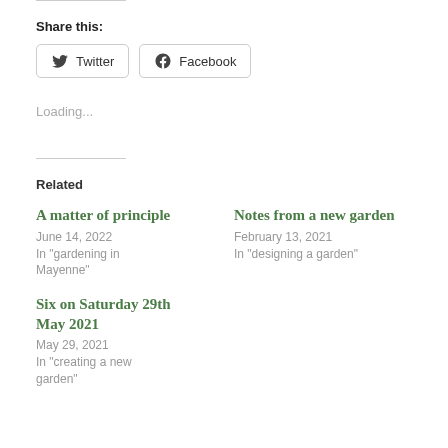Share this:
Twitter  Facebook
Loading...
Related
A matter of principle
June 14, 2022
In "gardening in Mayenne"
Notes from a new garden
February 13, 2021
In "designing a garden"
Six on Saturday 29th May 2021
May 29, 2021
In "creating a new garden"